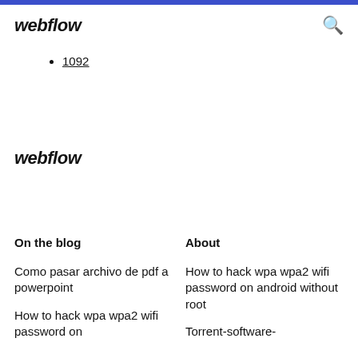webflow
1092
webflow
On the blog
About
Como pasar archivo de pdf a powerpoint
How to hack wpa wpa2 wifi password on android without root
How to hack wpa wpa2 wifi password on
Torrent-software-